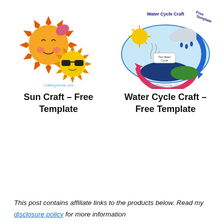[Figure (illustration): Paper craft sun figures - two smiling suns made from cut paper, one with sunglasses, with CraftingJonnie.com watermark]
Sun Craft – Free Template
[Figure (illustration): Water cycle craft showing the water cycle process with sun, clouds, rain, and arrows, labeled 'Water Cycle Craft Free Template' with CraftingJonnie.com watermark]
Water Cycle Craft – Free Template
This post contains affiliate links to the products below. Read my disclosure policy for more information